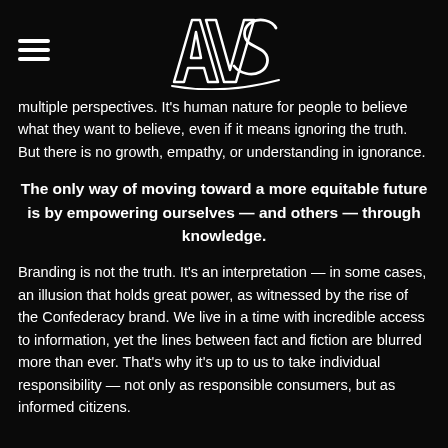[Figure (logo): AVS stylized graffiti-style logo in white outline on black background, with a hamburger menu icon on the left]
multiple perspectives. It's human nature for people to believe what they want to believe, even if it means ignoring the truth. But there is no growth, empathy, or understanding in ignorance.
The only way of moving toward a more equitable future is by empowering ourselves — and others — through knowledge.
Branding is not the truth. It's an interpretation — in some cases, an illusion that holds great power, as witnessed by the rise of the Confederacy brand. We live in a time with incredible access to information, yet the lines between fact and fiction are blurred more than ever. That's why it's up to us to take individual responsibility — not only as responsible consumers, but as informed citizens.